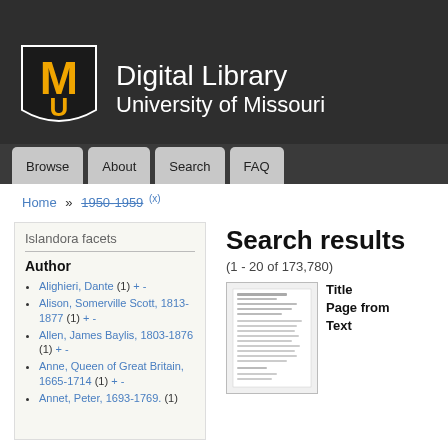[Figure (logo): University of Missouri MU shield logo in black and gold]
Digital Library University of Missouri
Browse | About | Search | FAQ
Home » 1950-1959 (x)
Islandora facets
Author
Alighieri, Dante (1)
Alison, Somerville Scott, 1813-1877 (1)
Allen, James Baylis, 1803-1876 (1)
Anne, Queen of Great Britain, 1665-1714 (1)
Annet, Peter, 1693-1769. (1)
Search results
(1 - 20 of 173,780)
[Figure (screenshot): Thumbnail of a scanned document page]
Title
Page from
Text